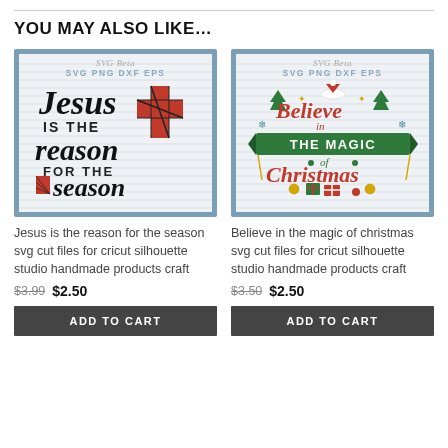YOU MAY ALSO LIKE…
[Figure (illustration): SVG product image: Jesus is the reason for the season, with buffalo plaid cross, black script lettering on striped background. SVG Bota watermark, SVG PNG DXF EPS formats listed.]
Jesus is the reason for the season svg cut files for cricut silhouette studio handmade products craft
$3.99  $2.50
ADD TO CART
[Figure (illustration): SVG product image: Believe in the magic of Christmas, with decorative Christmas elements (Santa hat, trees, snowflakes, gifts, wheat), green banner, red script, on striped background. SVG Bota watermark, SVG PNG DXF EPS formats listed.]
Believe in the magic of christmas svg cut files for cricut silhouette studio handmade products craft
$3.50  $2.50
ADD TO CART